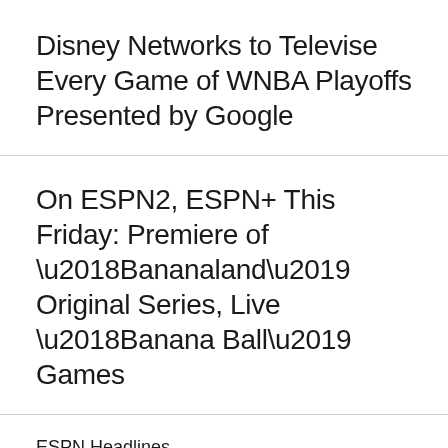Disney Networks to Televise Every Game of WNBA Playoffs Presented by Google
On ESPN2, ESPN+ This Friday: Premiere of ‘Bananaland’ Original Series, Live ‘Banana Ball’ Games
ESPN Headlines
[Figure (logo): ESPN logo in red with stylized letters]